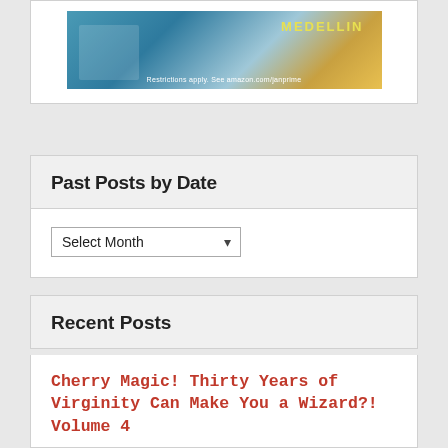[Figure (photo): Amazon Prime promotional banner image with teal/blue tones showing a figure and cityscape, with 'MEDELLIN' text in yellow, and small text 'Restrictions apply. See amazon.com/janprime']
Past Posts by Date
Select Month (dropdown)
Recent Posts
Cherry Magic! Thirty Years of Virginity Can Make You a Wizard?! Volume 4
I’m entertained by how this series is moving along, without drawing out plot points redundantly. Adachi, with his virginal telepathy, has the advantage of knowing Kurosawa honestly likes him — and